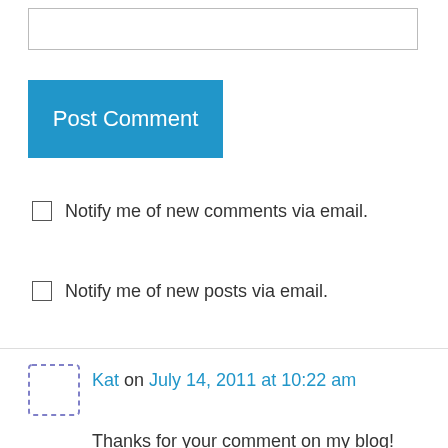[Figure (screenshot): Empty text input field for comment]
Post Comment
Notify me of new comments via email.
Notify me of new posts via email.
Kat on July 14, 2011 at 10:22 am
Thanks for your comment on my blog! Congrats on the 30-for-30 challenge. It's fun to see all your outfits in one place, and I love that you included some stats as well. Dresses as skirts is a great way to remix – I recently did the reverse – http://asecondglanceblog.blogspot.com/2011/06/riot-of-thrifted-colour.html